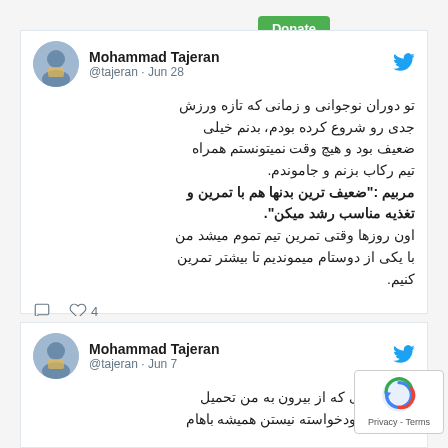Donate
Mohammad Tajeran @tajeran · Jun 28
تو دوران نوجوانی و زمانی که تازه ورزش جدی رو شروع کرده بودم، بدنم خیلی ضعیف بود و هیچ وقت نمیتونستم همراه تیم رکاب بزنم و جاموندم. مربیم :"ضعیف ترین بدنها هم با تمرین و تغذیه مناسب رشد میکن". اون روزها وقتی تمرین تیم تموم میشد من با یکی از دوستام میموندیم تا بیشتر تمرین کنیم.
Mohammad Tajeran @tajeran · Jun 7
چالش هایی که از بیرون به من تحمیل میشن و خودخواسته نیستن همیشه باهام بودن